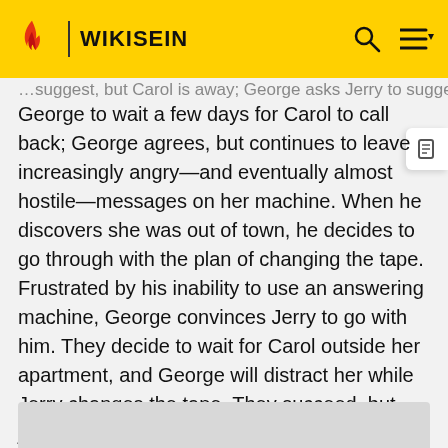WIKISEIN
George to wait a few days for Carol to call back; George agrees, but continues to leave increasingly angry—and eventually almost hostile—messages on her machine. When he discovers she was out of town, he decides to go through with the plan of changing the tape. Frustrated by his inability to use an answering machine, George convinces Jerry to go with him. They decide to wait for Carol outside her apartment, and George will distract her while Jerry changes the tape. They succeed, but just as they are about to leave Carol's apartment, she tells George that she had already heard the messages and found them funny, adding that she "loves jokes like that."
[Figure (other): Gray placeholder box at bottom of page]